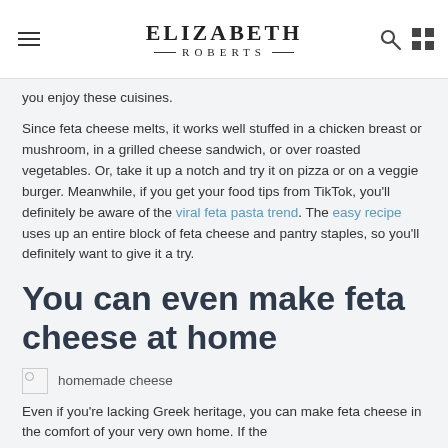ELIZABETH ROBERTS
you enjoy these cuisines.
Since feta cheese melts, it works well stuffed in a chicken breast or mushroom, in a grilled cheese sandwich, or over roasted vegetables. Or, take it up a notch and try it on pizza or on a veggie burger. Meanwhile, if you get your food tips from TikTok, you'll definitely be aware of the viral feta pasta trend. The easy recipe uses up an entire block of feta cheese and pantry staples, so you'll definitely want to give it a try.
You can even make feta cheese at home
[Figure (photo): Broken image placeholder with alt text 'homemade cheese']
Even if you're lacking Greek heritage, you can make feta cheese in the comfort of your very own home. If the